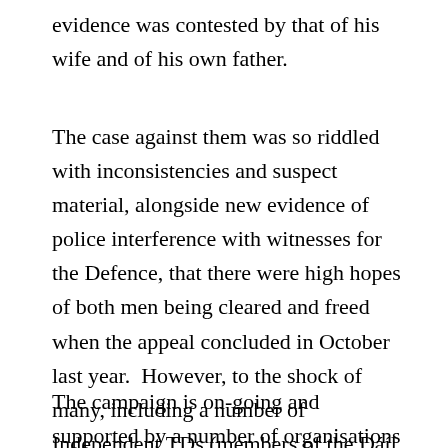evidence was contested by that of his wife and of his own father.
The case against them was so riddled with inconsistencies and suspect material, alongside new evidence of police interference with witnesses for the Defence, that there were high hopes of both men being cleared and freed when the appeal concluded in October last year.  However, to the shock of many, including a number of Independent TDs (members of the Dáíl, the Irish parliament) and the late Gerry Conlon, their appeal was denied.
The campaign is on-going and supported by a number of organisations and individuals.  It was in support of